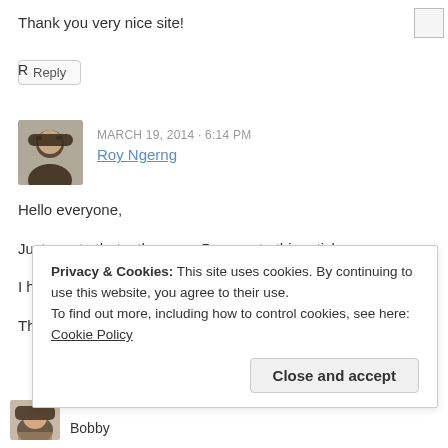Thank you very nice site!
Reply
MARCH 19, 2014 - 6:14 PM
Roy Ngerng
Hello everyone,
Just a note that – there are 5 pages to this article.
I had edited it to show it more clearly!
Thanks!
Privacy & Cookies: This site uses cookies. By continuing to use this website, you agree to their use.
To find out more, including how to control cookies, see here: Cookie Policy
Close and accept
Bobby